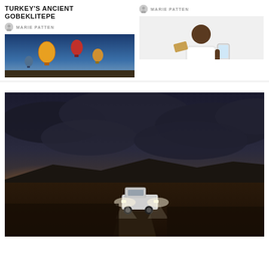TURKEY'S ANCIENT GOBEKLITEPE
MARIE PATTEN
[Figure (photo): Hot air balloons floating in a twilight sky over a landscape]
MARIE PATTEN
[Figure (photo): Man in white shirt holding a credit card and a tablet, smiling against white background]
[Figure (photo): Pickup truck with headlights on driving on a desert road at dramatic sunset with dark cloudy sky]